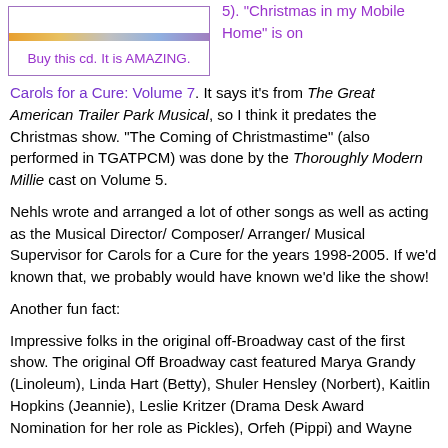[Figure (other): CD cover image placeholder with colored bar at top]
Buy this cd. It is AMAZING.
5). "Christmas in my Mobile Home" is on Carols for a Cure: Volume 7. It says it's from The Great American Trailer Park Musical, so I think it predates the Christmas show. "The Coming of Christmastime" (also performed in TGATPCM) was done by the Thoroughly Modern Millie cast on Volume 5.
Nehls wrote and arranged a lot of other songs as well as acting as the Musical Director/ Composer/ Arranger/ Musical Supervisor for Carols for a Cure for the years 1998-2005. If we'd known that, we probably would have known we'd like the show!
Another fun fact:
Impressive folks in the original off-Broadway cast of the first show. The original Off Broadway cast featured Marya Grandy (Linoleum), Linda Hart (Betty), Shuler Hensley (Norbert), Kaitlin Hopkins (Jeannie), Leslie Kritzer (Drama Desk Award Nomination for her role as Pickles), Orfeh (Pippi) and Wayne